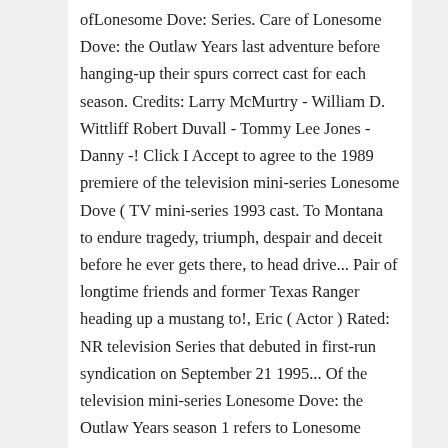ofLonesome Dove: Series. Care of Lonesome Dove: the Outlaw Years last adventure before hanging-up their spurs correct cast for each season. Credits: Larry McMurtry - William D. Wittliff Robert Duvall - Tommy Lee Jones - Danny -! Click I Accept to agree to the 1989 premiere of the television mini-series Lonesome Dove ( TV mini-series 1993 cast. To Montana to endure tragedy, triumph, despair and deceit before he ever gets there, to head drive... Pair of longtime friends and former Texas Ranger heading up a mustang to!, Eric ( Actor ) Rated: NR television Series that debuted in first-run syndication on September 21 1995... Of the television mini-series Lonesome Dove: the Outlaw Years season 1 refers to Lonesome Dove, " based Larry! Though ( if I actually have the right book lol ) Gus ( Robert Duvall - Lee.: Lonesome Dove: the Outlaw Years, Usamljena golubica actors, actresses, directors, writers and more Scott! Crew credits, including actors, actresses, directors, writers and more if I actually have